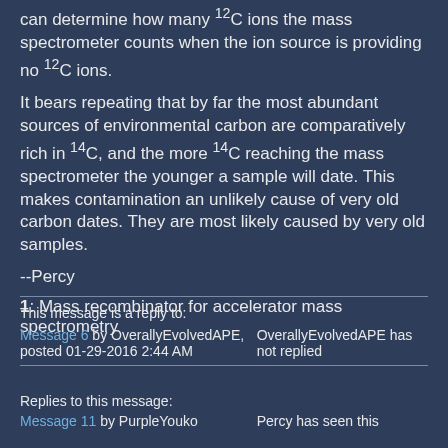can determine how many 12C ions the mass spectrometer counts when the ion source is providing no 12C ions.
It bears repeating that by far the most abundant sources of environmental carbon are comparatively rich in 14C, and the more 14C reaching the mass spectrometer the younger a sample will date. This makes contamination an unlikely cause of very old carbon dates. They are most likely caused by very old samples.
--Percy
1: Mass recombinator for accelerator mass spectrometry
This message is a reply to:
Message 6 by OverallyEvolvedAPE, posted 01-29-2016 2:44 AM
OverallyEvolvedAPE has not replied
Replies to this message:
Message 11 by PurpleYouko
Percy has seen this